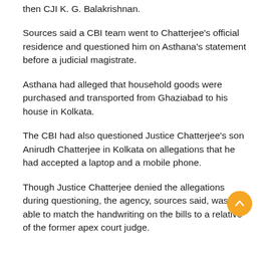then CJI K. G. Balakrishnan.
Sources said a CBI team went to Chatterjee's official residence and questioned him on Asthana's statement before a judicial magistrate.
Asthana had alleged that household goods were purchased and transported from Ghaziabad to his house in Kolkata.
The CBI had also questioned Justice Chatterjee's son Anirudh Chatterjee in Kolkata on allegations that he had accepted a laptop and a mobile phone.
Though Justice Chatterjee denied the allegations during questioning, the agency, sources said, was able to match the handwriting on the bills to a relative of the former apex court judge.